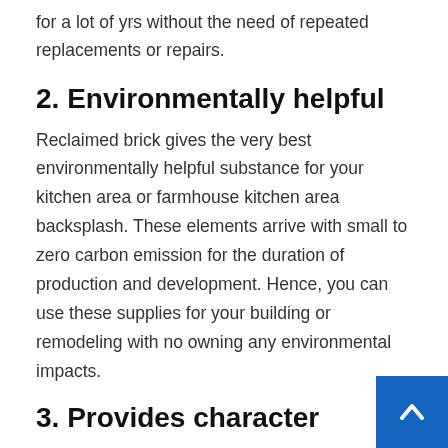for a lot of yrs without the need of repeated replacements or repairs.
2. Environmentally helpful
Reclaimed brick gives the very best environmentally helpful substance for your kitchen area or farmhouse kitchen area backsplash. These elements arrive with small to zero carbon emission for the duration of production and development. Hence, you can use these supplies for your building or remodeling with no owning any environmental impacts.
3. Provides character
Having reclaimed elements on your assignments is the finest way to enhance their character and individua... The reclaimed brick backsplash assists you make a exceptional and desirable end for your project, as you can